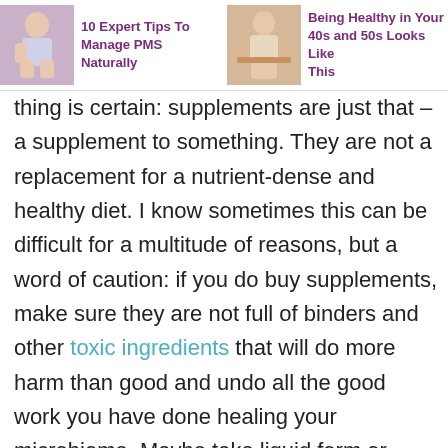[Figure (photo): Thumbnail image of a woman sitting, associated with article about managing PMS naturally]
10 Expert Tips To Manage PMS Naturally
[Figure (photo): Thumbnail image of a woman eating, associated with article about being healthy in your 40s and 50s]
Being Healthy in Your 40s and 50s Looks Like This
thing is certain: supplements are just that – a supplement to something. They are not a replacement for a nutrient-dense and healthy diet. I know sometimes this can be difficult for a multitude of reasons, but a word of caution: if you do buy supplements, make sure they are not full of binders and other toxic ingredients that will do more harm than good and undo all the good work you have done healing your microbiome. Maybe take liquid form or powder as an alternative.